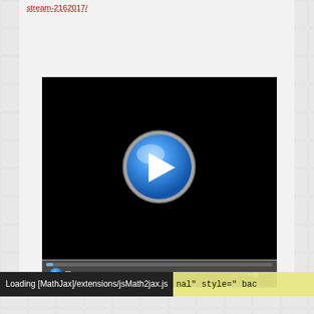stream-2162017/
[Figure (screenshot): Video player with black screen showing a blue play button in the center, with media control bar at bottom including play, stop, skip, rewind, fast-forward, and volume controls.]
Loading [MathJax]/extensions/jsMath2jax.js
nal" style=" bac